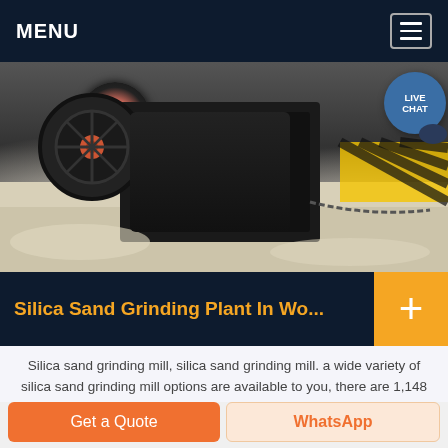MENU
[Figure (photo): Industrial silica sand grinding plant machinery on a sandy surface, with a large wheel/pulley visible, chains, and yellow-black hazard striping in background]
Silica Sand Grinding Plant In Wo...
Silica sand grinding mill, silica sand grinding mill. a wide variety of silica sand grinding mill options are available to you, there are 1,148 suppliers who sells silica sand grinding mill on alibaba, mainly loed in asia. the top countries of supplier is china, from which the percentage of silica sand grinding mill supply is
Get a Quote | WhatsApp